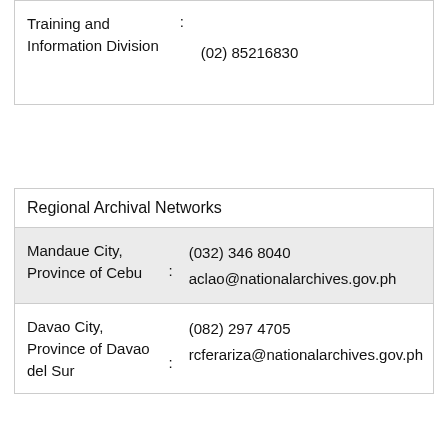| Division | : | Contact |
| --- | --- | --- |
| Training and Information Division | : | (02) 85216830 |
| Regional Archival Networks |  |  |
| --- | --- | --- |
| Mandaue City, Province of Cebu | : | (032) 346 8040
aclao@nationalarchives.gov.ph |
| Davao City, Province of Davao del Sur | : | (082) 297 4705
rcferariza@nationalarchives.gov.ph |